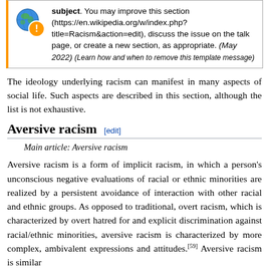[Figure (infographic): Wikipedia notice box with orange left border, globe with exclamation icon, text about improving section on racism, including URL, talk page reference, and May 2022 date with template message link.]
The ideology underlying racism can manifest in many aspects of social life. Such aspects are described in this section, although the list is not exhaustive.
Aversive racism [edit]
Main article: Aversive racism
Aversive racism is a form of implicit racism, in which a person's unconscious negative evaluations of racial or ethnic minorities are realized by a persistent avoidance of interaction with other racial and ethnic groups. As opposed to traditional, overt racism, which is characterized by overt hatred for and explicit discrimination against racial/ethnic minorities, aversive racism is characterized by more complex, ambivalent expressions and attitudes.[59] Aversive racism is similar